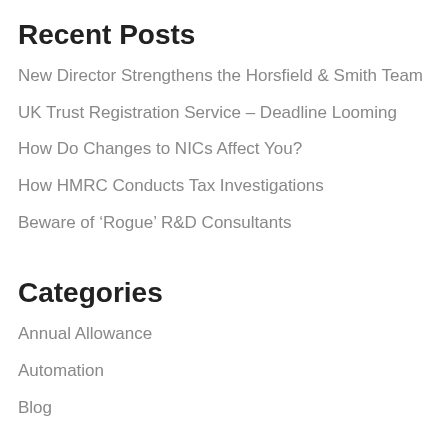Recent Posts
New Director Strengthens the Horsfield & Smith Team
UK Trust Registration Service – Deadline Looming
How Do Changes to NICs Affect You?
How HMRC Conducts Tax Investigations
Beware of ‘Rogue’ R&D Consultants
Categories
Annual Allowance
Automation
Blog